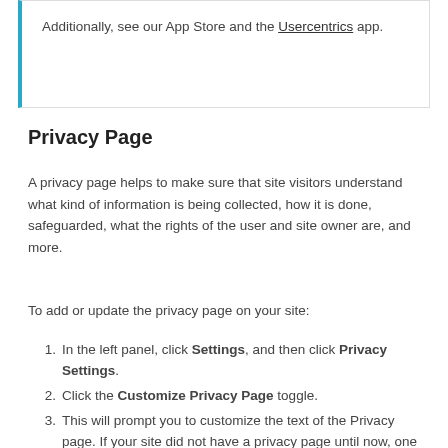Additionally, see our App Store and the Usercentrics app.
Privacy Page
A privacy page helps to make sure that site visitors understand what kind of information is being collected, how it is done, safeguarded, what the rights of the user and site owner are, and more.
To add or update the privacy page on your site:
In the left panel, click Settings, and then click Privacy Settings.
Click the Customize Privacy Page toggle.
This will prompt you to customize the text of the Privacy page. If your site did not have a privacy page until now, one will be automatically created. If you are ready to change the default text of the page, click Customize.
For your convenience, all elements that need customization are highlighted in red.
Make the necessary changes and when you republish